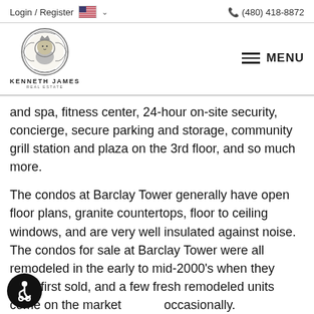Login / Register   🇺🇸 ∨   ☎ (480) 418-8872
[Figure (logo): Kenneth James Real Estate logo — lion crest emblem with text KENNETH JAMES REAL ESTATE below]
and spa, fitness center, 24-hour on-site security, concierge, secure parking and storage, community grill station and plaza on the 3rd floor, and so much more.
The condos at Barclay Tower generally have open floor plans, granite countertops, floor to ceiling windows, and are very well insulated against noise.  The condos for sale at Barclay Tower were all remodeled in the early to mid-2000's when they were first sold, and a few fresh remodeled units come on the market occasionally.